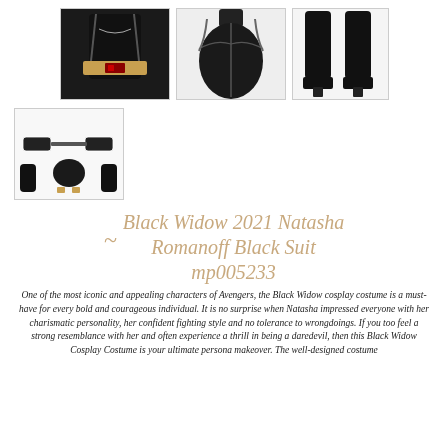[Figure (photo): Three product photos of Black Widow costume components: torso with golden belt, chest armor/bodysuit detail, and tall black boots]
[Figure (photo): Product photo showing costume accessories laid out: wristbands, mask, gloves, and other parts of the Black Widow Natasha Romanoff Black Suit mp005233]
Black Widow 2021 Natasha Romanoff Black Suit mp005233
One of the most iconic and appealing characters of Avengers, the Black Widow cosplay costume is a must-have for every bold and courageous individual. It is no surprise when Natasha impressed everyone with her charismatic personality, her confident fighting style and no tolerance to wrongdoings. If you too feel a strong resemblance with her and often experience a thrill in being a daredevil, then this Black Widow Cosplay Costume is your ultimate persona makeover. The well-designed costume